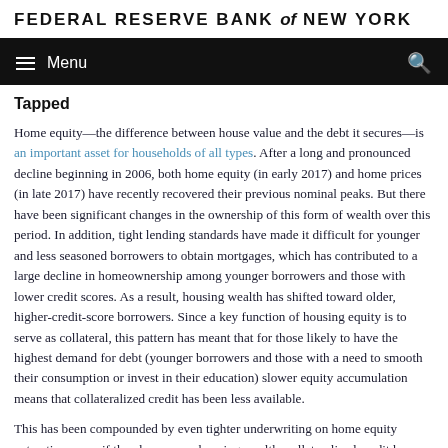FEDERAL RESERVE BANK of NEW YORK
Tapped
Home equity—the difference between house value and the debt it secures—is an important asset for households of all types. After a long and pronounced decline beginning in 2006, both home equity (in early 2017) and home prices (in late 2017) have recently recovered their previous nominal peaks. But there have been significant changes in the ownership of this form of wealth over this period. In addition, tight lending standards have made it difficult for younger and less seasoned borrowers to obtain mortgages, which has contributed to a large decline in homeownership among younger borrowers and those with lower credit scores. As a result, housing wealth has shifted toward older, higher-credit-score borrowers. Since a key function of housing equity is to serve as collateral, this pattern has meant that for those likely to have the highest demand for debt (younger borrowers and those with a need to smooth their consumption or invest in their education) slower equity accumulation means that collateralized credit has been less available.
This has been compounded by even tighter underwriting on home equity extraction; even if they have some housing wealth, collateralized credit has